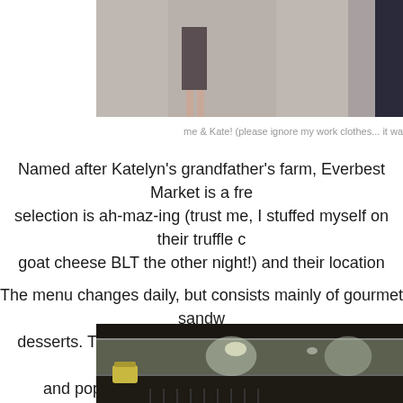[Figure (photo): Two people standing, photo cropped at bottom showing lower bodies — one person in a dark skirt, another in dark jeans]
me & Kate! (please ignore my work clothes... it wa
Named after Katelyn's grandfather's farm, Everbest Market is a fre... selection is ah-maz-ing (trust me, I stuffed myself on their truffle c... goat cheese BLT the other night!) and their location...
The menu changes daily, but consists mainly of gourmet sandw... desserts. They've also got a daily take home menu, consisting of ... and pop into your oven, ready to eat! All I ha...
[Figure (photo): A glass display case / deli counter with dark frame, glass panels visible, small jar visible at bottom left]